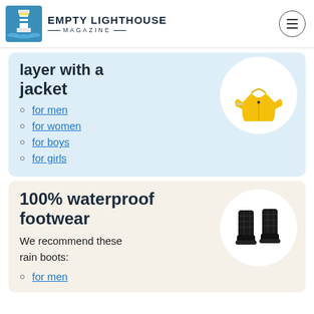EMPTY LIGHTHOUSE MAGAZINE
layer with a jacket
for men
for women
for boys
for girls
100% waterproof footwear
We recommend these rain boots:
for men